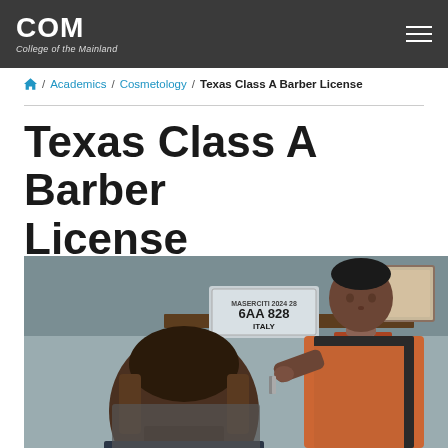COM College of the Mainland
🏠 / Academics / Cosmetology / Texas Class A Barber License
Texas Class A Barber License
[Figure (photo): A barber wearing an orange apron cutting the hair of a seated client in a barbershop. An Italian license plate reading '6AA 828 ITALY' is visible on a wooden shelf in the background.]